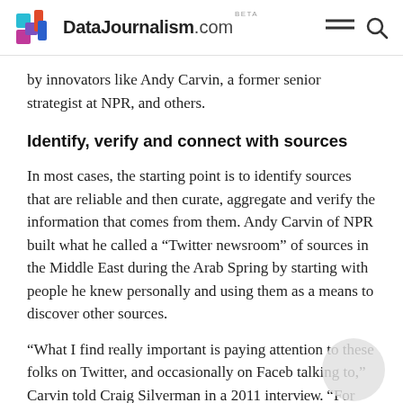DataJournalism.com BETA
by innovators like Andy Carvin, a former senior strategist at NPR, and others.
Identify, verify and connect with sources
In most cases, the starting point is to identify sources that are reliable and then curate, aggregate and verify the information that comes from them. Andy Carvin of NPR built what he called a “Twitter newsroom” of sources in the Middle East during the Arab Spring by starting with people he knew personally and using them as a means to discover other sources.
“What I find really important is paying attention to these folks on Twitter, and occasionally on Faceb talking to,” Carvin told Craig Silverman in a 2011 interview. “For both Tunisia and Egypt I already had about half a